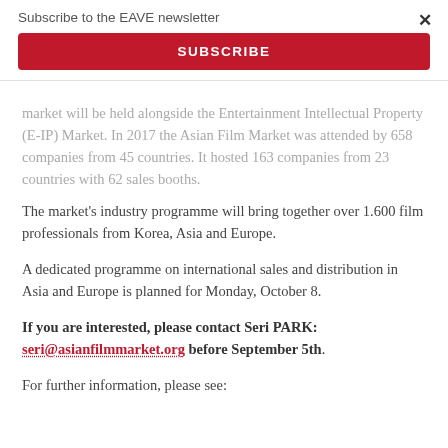Subscribe to the EAVE newsletter
SUBSCRIBE
market will be held alongside the Entertainment Intellectual Property (E-IP) Market. In 2017 the Asian Film Market was attended by 658 companies from 45 countries. It hosted 163 companies from 23 countries with 62 sales booths.
The market's industry programme will bring together over 1.600 film professionals from Korea, Asia and Europe.
A dedicated programme on international sales and distribution in Asia and Europe is planned for Monday, October 8.
If you are interested, please contact Seri PARK: seri@asianfilmmarket.org before September 5th.
For further information, please see: